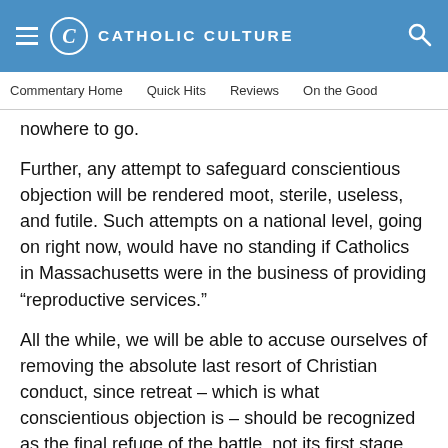Catholic Culture
Commentary Home   Quick Hits   Reviews   On the Good
nowhere to go.
Further, any attempt to safeguard conscientious objection will be rendered moot, sterile, useless, and futile. Such attempts on a national level, going on right now, would have no standing if Catholics in Massachusetts were in the business of providing “reproductive services.”
All the while, we will be able to accuse ourselves of removing the absolute last resort of Christian conduct, since retreat – which is what conscientious objection is – should be recognized as the final refuge of the battle, not its first stage.
The battle has indeed breached the walls of Catholic